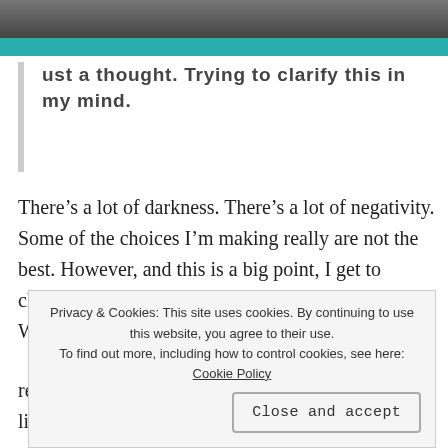[Figure (photo): Partial top of a photo (dark, blurred image) at the top of the page]
Just a thought. Trying to clarify this in my mind.
There’s a lot of darkness. There’s a lot of negativity. Some of the choices I’m making really are not the best. However, and this is a big point, I get to choose what I identify with. How I identify myself. What choices define me and what don’t.
remembered it and it’s made a big difference to my life.
Privacy & Cookies: This site uses cookies. By continuing to use this website, you agree to their use.
To find out more, including how to control cookies, see here: Cookie Policy
Close and accept